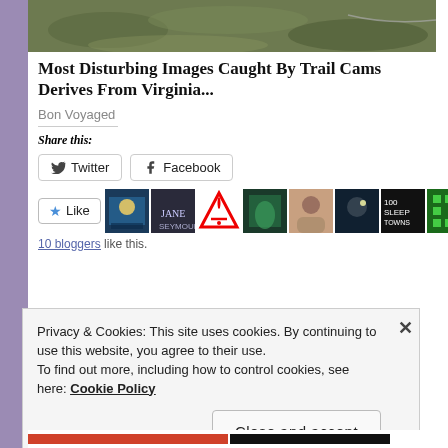[Figure (photo): Top portion of an outdoor nature photo, showing ground/rocks with greenish tones]
Most Disturbing Images Caught By Trail Cams Derives From Virginia...
Bon Voyaged
Share this:
[Figure (screenshot): Twitter and Facebook share buttons, Like button with 10 blogger avatars. 10 bloggers like this.]
10 bloggers like this.
Privacy & Cookies: This site uses cookies. By continuing to use this website, you agree to their use.
To find out more, including how to control cookies, see here: Cookie Policy
Close and accept